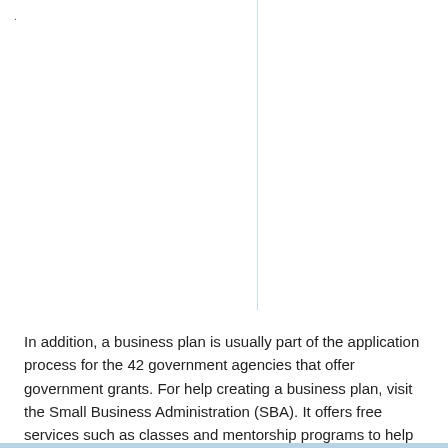In addition, a business plan is usually part of the application process for the 42 government agencies that offer government grants. For help creating a business plan, visit the Small Business Administration (SBA). It offers free services such as classes and mentorship programs to help create business plans.